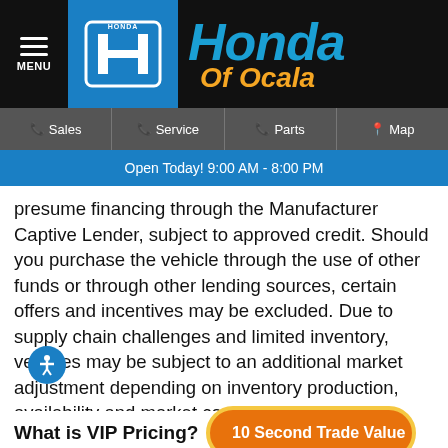Honda of Ocala — MENU | Sales | Service | Parts | Map | Open Today! 9:00 AM - 8:00 PM
presume financing through the Manufacturer Captive Lender, subject to approved credit. Should you purchase the vehicle through the use of other funds or through other lending sources, certain offers and incentives may be excluded. Due to supply chain challenges and limited inventory, vehicles may be subject to an additional market adjustment depending on inventory production, availability and market conditions. While e... been made to ensure the accu... dealership is not responsible for errors or omissions contained on these pages. Please see dealer for details.
[Figure (other): Orange rounded button overlay reading '10 Second Trade Value' with yellow border]
What is VIP Pricing?